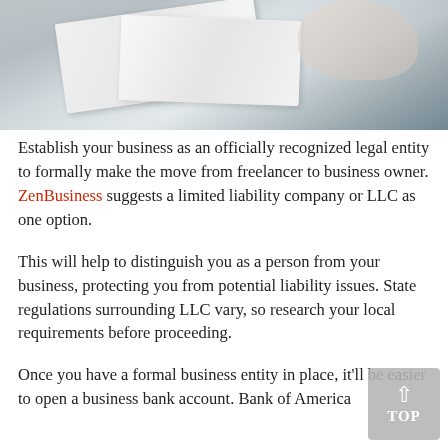[Figure (photo): Blurred background photo showing hands holding or writing on papers/documents, with a muted grey-blue teal background tone.]
Establish your business as an officially recognized legal entity to formally make the move from freelancer to business owner. ZenBusiness suggests a limited liability company or LLC as one option.
This will help to distinguish you as a person from your business, protecting you from potential liability issues. State regulations surrounding LLC vary, so research your local requirements before proceeding.
Once you have a formal business entity in place, it'll be easier to open a business bank account. Bank of America